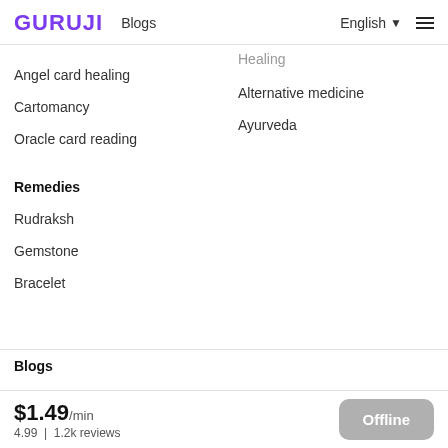GURUJI  Blogs  English  ☰
Healing (partial, cropped)
Angel card healing
Alternative medicine
Cartomancy
Ayurveda
Oracle card reading
Remedies
Rudraksh
Gemstone
Bracelet
Blogs
$1.49/min
4.99 | 1.2k reviews
Offline